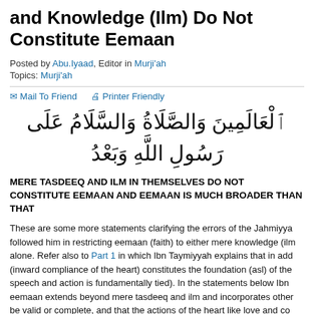and Knowledge (Ilm) Do Not Constitute Eemaan
Posted by Abu.Iyaad, Editor in Murji'ah
Topics: Murji'ah
✉ Mail To Friend 🖨 Printer Friendly
[Figure (other): Arabic calligraphic text reading: al-'aalameena was-salaatu was-salaamu 'alaa rasooli-llaahi wa-ba'd]
MERE TASDEEQ AND ILM IN THEMSELVES DO NOT CONSTITUTE EEMAAN AND EEMAAN IS MUCH BROADER THAN THAT
These are some more statements clarifying the errors of the Jahmiyyah followed him in restricting eemaan (faith) to either mere knowledge (ilm) alone. Refer also to Part 1 in which Ibn Taymiyyah explains that in addition (inward compliance of the heart) constitutes the foundation (asl) of the speech and action is fundamentally tied). In the statements below Ibn eemaan extends beyond mere tasdeeq and ilm and incorporates other be valid or complete, and that the actions of the heart like love and com implied and necessitated by tasdeeq and ilm.